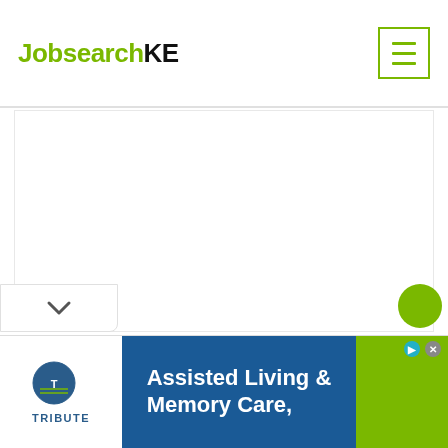JobsearchKE
[Figure (screenshot): White blank content area (main page body)]
[Figure (infographic): Advertisement banner for Tribute Assisted Living & Memory Care with blue and green sections]